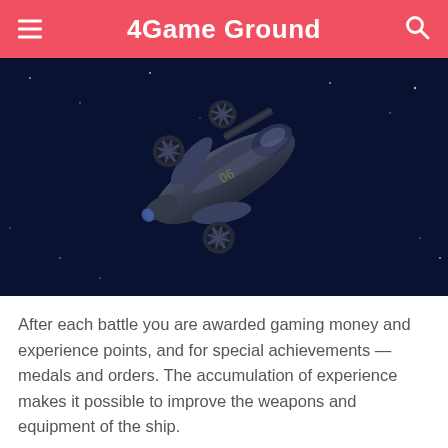4Game Ground
[Figure (photo): A sci-fi spaceship with multiple thrusters and turrets floating in dark space, rendered in 3D game-style graphics.]
After each battle you are awarded gaming money and experience points, and for special achievements — medals and orders. The accumulation of experience makes it possible to improve the weapons and equipment of the ship.
Undoubtedly, Casus Belli will appeal to all fans of